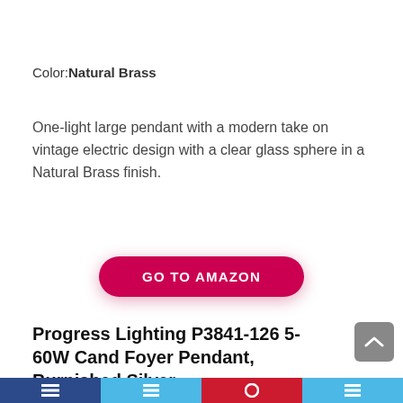Color: Natural Brass
One-light large pendant with a modern take on vintage electric design with a clear glass sphere in a Natural Brass finish.
GO TO AMAZON
Progress Lighting P3841-126 5-60W Cand Foyer Pendant, Burnished Silver